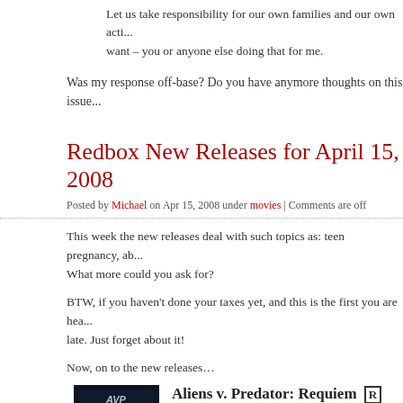Let us take responsibility for our own families and our own actions, and I don't want – you or anyone else doing that for me.
Was my response off-base? Do you have anymore thoughts on this issue?
Redbox New Releases for April 15, 2008
Posted by Michael on Apr 15, 2008 under movies | Comments are off
This week the new releases deal with such topics as: teen pregnancy, a... What more could you ask for?
BTW, if you haven't done your taxes yet, and this is the first you are hea... late. Just forget about it!
Now, on to the new releases…
[Figure (photo): Movie poster thumbnail for Aliens v. Predator: Requiem]
Aliens v. Predator: Requiem [R]
movie details / trailer
Starring: John Ortiz, Steven Pasquale
Release Year: 2007
Before the Devil Knows You're Dead [R]